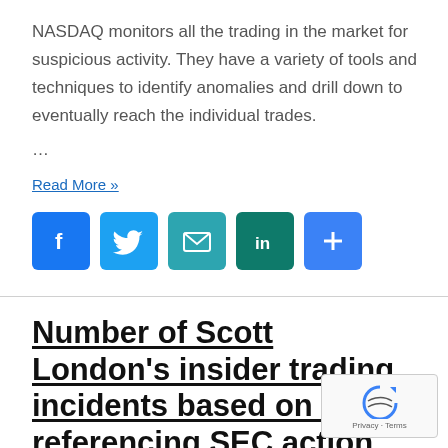NASDAQ monitors all the trading in the market for suspicious activity. They have a variety of tools and techniques to identify anomalies and drill down to eventually reach the individual trades.
...
Read More »
[Figure (infographic): Social sharing icon buttons: Facebook (blue), Twitter (light blue), Email (teal), LinkedIn (dark teal/green), More/Plus (blue)]
Number of Scott London's insider trading incidents based on cross-referencing SEC action, plea agreement, and FBI complaint